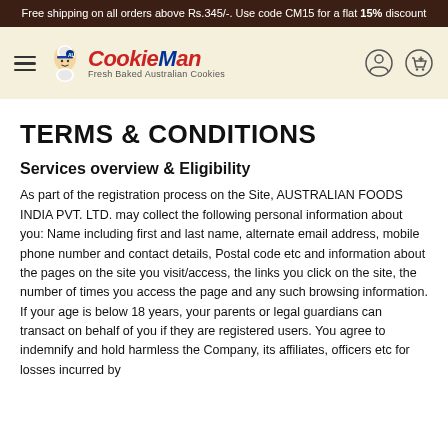Free shipping on all orders above Rs.345/-. Use code CM15 for a flat 15% discount
[Figure (logo): Cookie Man logo with chef character, red italic text and tagline 'Fresh Baked Australian Cookies']
TERMS & CONDITIONS
Services overview & Eligibility
As part of the registration process on the Site, AUSTRALIAN FOODS INDIA PVT. LTD. may collect the following personal information about you: Name including first and last name, alternate email address, mobile phone number and contact details, Postal code etc and information about the pages on the site you visit/access, the links you click on the site, the number of times you access the page and any such browsing information. If your age is below 18 years, your parents or legal guardians can transact on behalf of you if they are registered users. You agree to indemnify and hold harmless the Company, its affiliates, officers etc for losses incurred by